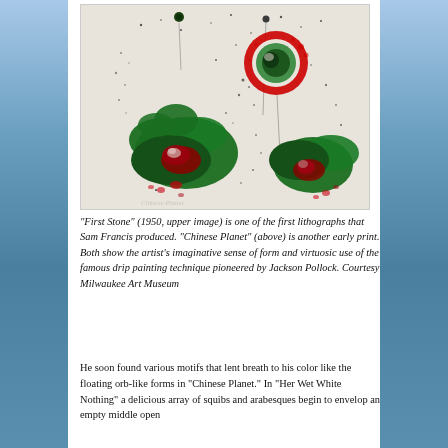[Figure (photo): Abstract expressionist artwork showing large green blob shapes and red circular forms with drip paint splatters on a light background, reminiscent of Sam Francis lithograph style.]
“First Stone” (1950, upper image) is one of the first lithographs that Sam Francis produced. “Chinese Planet” (above) is another early print. Both show the artist’s imaginative sense of form and virtuosic use of the famous drip painting technique pioneered by Jackson Pollock. Courtesy Milwaukee Art Museum
He soon found various motifs that lent breath to his color like the floating orb-like forms in “Chinese Planet.” In “Her Wet White Nothing” a delicious array of squibs and arabesques begin to envelop an empty middle open